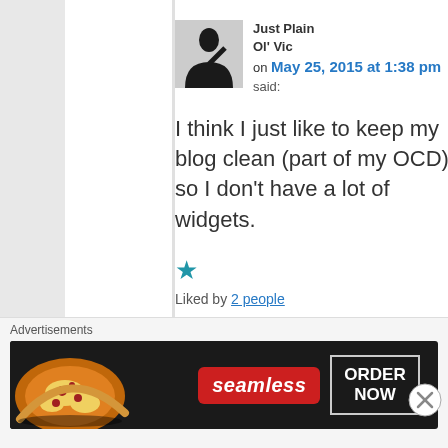Just Plain Ol' Vic on May 25, 2015 at 1:38 pm said:
I think I just like to keep my blog clean (part of my OCD) so I don't have a lot of widgets.
★ Liked by 2 people
Advertisements
[Figure (photo): Seamless food delivery advertisement banner with pizza image on the left, Seamless logo in the center, and ORDER NOW button on the right]